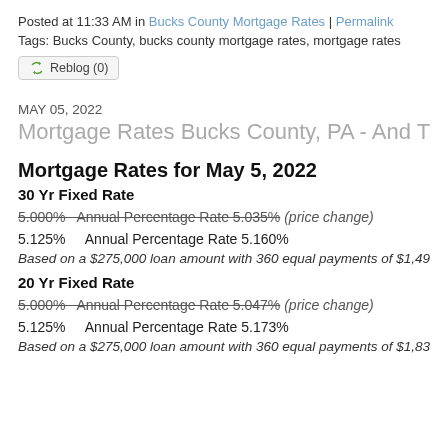Posted at 11:33 AM in Bucks County Mortgage Rates | Permalink
Tags: Bucks County, bucks county mortgage rates, mortgage rates
Reblog (0)
MAY 05, 2022
Mortgage Rates Bucks County, PA - And The Entire De
Mortgage Rates for May 5, 2022
30 Yr Fixed Rate
5.000%  Annual Percentage Rate 5.035% (price change)
5.125%    Annual Percentage Rate 5.160%
Based on a $275,000 loan amount with 360 equal payments of $1,497.
20 Yr Fixed Rate
5.000%  Annual Percentage Rate 5.047% (price change)
5.125%    Annual Percentage Rate 5.173%
Based on a $275,000 loan amount with 360 equal payments of $1,833.